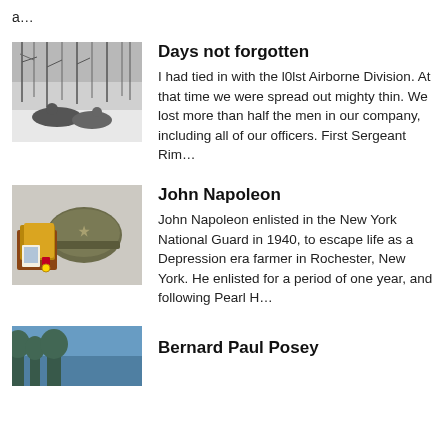a…
[Figure (photo): Black and white photo of soldiers in a winter wooded scene]
Days not forgotten
I had tied in with the l0lst Airborne Division. At that time we were spread out mighty thin. We lost more than half the men in our company, including all of our officers. First Sergeant Rim…
[Figure (photo): Photo of military helmet and memorabilia items on a surface]
John Napoleon
John Napoleon enlisted in the New York National Guard in 1940, to escape life as a Depression era farmer in Rochester, New York. He enlisted for a period of one year, and following Pearl H…
[Figure (photo): Partial photo with blue sky and trees, bottom of page]
Bernard Paul Posey